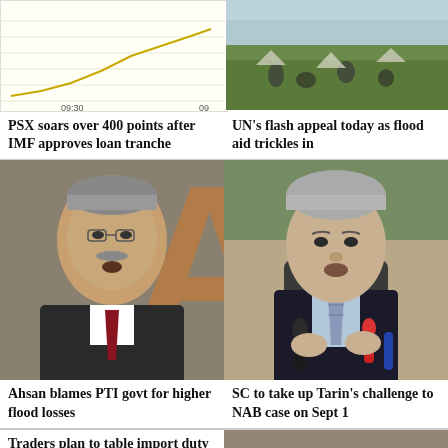[Figure (continuous-plot): Stock market line chart showing PSX index around 09:30 time axis, beige/cream colored chart with yellow line]
[Figure (photo): Photo of flood victims or outdoor scene with people on grass]
PSX soars over 400 points after IMF approves loan tranche
UN's flash appeal today as flood aid trickles in
[Figure (photo): Photo of Ahsan Iqbal, politician, speaking at event with red tie]
[Figure (photo): Photo of Shaukat Tarin, finance minister, seated at press conference with microphones]
Ahsan blames PTI govt for higher flood losses
SC to take up Tarin's challenge to NAB case on Sept 1
Traders plan to table import duty cut request
[Figure (photo): Partial photo visible at bottom right]